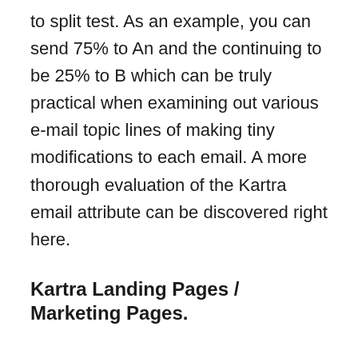to split test. As an example, you can send 75% to An and the continuing to be 25% to B which can be truly practical when examining out various e-mail topic lines of making tiny modifications to each email. A more thorough evaluation of the Kartra email attribute can be discovered right here.
Kartra Landing Pages / Marketing Pages.